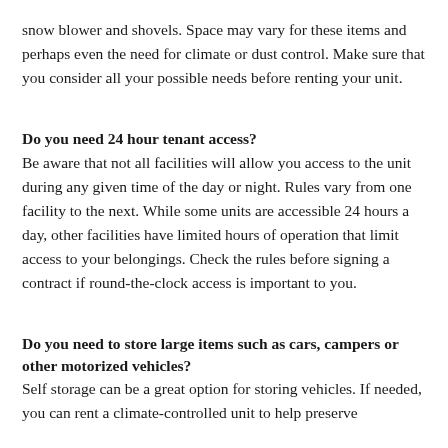snow blower and shovels. Space may vary for these items and perhaps even the need for climate or dust control. Make sure that you consider all your possible needs before renting your unit.
Do you need 24 hour tenant access?
Be aware that not all facilities will allow you access to the unit during any given time of the day or night. Rules vary from one facility to the next. While some units are accessible 24 hours a day, other facilities have limited hours of operation that limit access to your belongings. Check the rules before signing a contract if round-the-clock access is important to you.
Do you need to store large items such as cars, campers or other motorized vehicles?
Self storage can be a great option for storing vehicles. If needed, you can rent a climate-controlled unit to help preserve